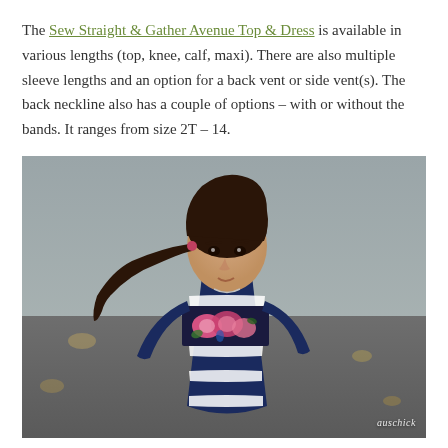The Sew Straight & Gather Avenue Top & Dress is available in various lengths (top, knee, calf, maxi). There are also multiple sleeve lengths and an option for a back vent or side vent(s). The back neckline also has a couple of options – with or without the bands. It ranges from size 2T – 14.
[Figure (photo): A young girl with dark hair in a side ponytail wearing a navy and white striped top with floral accent panel. She is standing outdoors on a paved surface. Watermark 'auschick' in bottom right corner.]